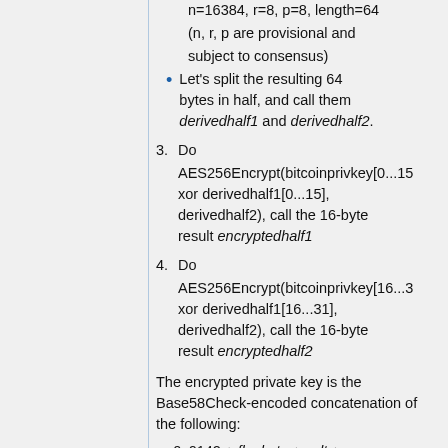n=16384, r=8, p=8, length=64 (n, r, p are provisional and subject to consensus)
Let's split the resulting 64 bytes in half, and call them derivedhalf1 and derivedhalf2.
3. Do AES256Encrypt(bitcoinprivkey[0...15] xor derivedhalf1[0...15], derivedhalf2), call the 16-byte result encryptedhalf1
4. Do AES256Encrypt(bitcoinprivkey[16...31] xor derivedhalf1[16...31], derivedhalf2), call the 16-byte result encryptedhalf2
The encrypted private key is the Base58Check-encoded concatenation of the following:
0x0142 + flagbyte + salt +